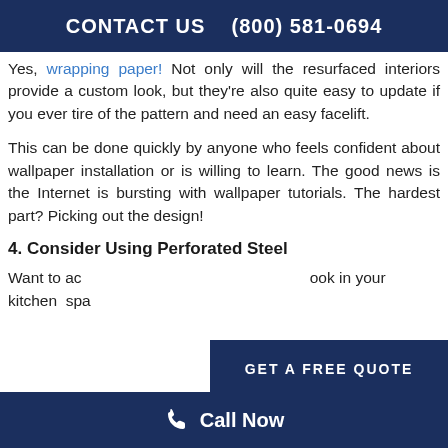CONTACT US   (800) 581-0694
Yes, wrapping paper! Not only will the resurfaced interiors provide a custom look, but they're also quite easy to update if you ever tire of the pattern and need an easy facelift.
This can be done quickly by anyone who feels confident about wallpaper installation or is willing to learn. The good news is the Internet is bursting with wallpaper tutorials. The hardest part? Picking out the design!
4. Consider Using Perforated Steel
Want to ac ook in your kitchen spa
[Figure (infographic): GET A FREE QUOTE overlay banner button in dark navy blue]
[Figure (infographic): Call Now bar at the bottom with phone icon]